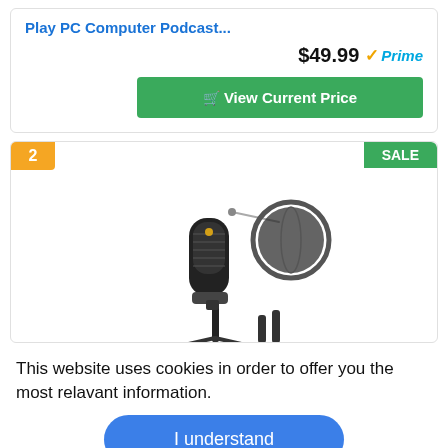Play PC Computer Podcast...
$49.99  ✓Prime
[Figure (screenshot): Green 'View Current Price' button with shopping cart icon]
[Figure (photo): Product listing card showing item number 2 with SALE badge and photo of a podcast/studio USB microphone on a stand with pop filter and accessories]
This website uses cookies in order to offer you the most relavant information.
[Figure (screenshot): Blue rounded 'I understand' button for cookie consent]